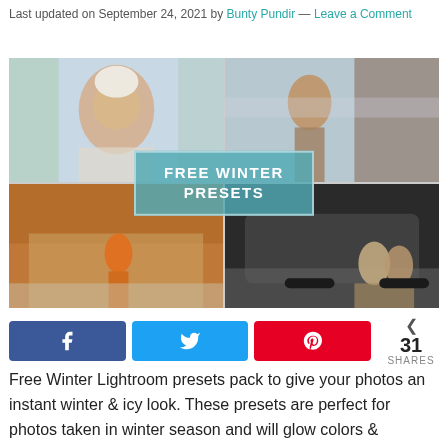Last updated on September 24, 2021 by Bunty Pundir — Leave a Comment
[Figure (photo): Collage of four winter photography scenes with a 'FREE WINTER PRESETS' overlay in teal. Top-left: smiling woman in snow; top-right: woman with backpack in snowy setting; bottom-left: person in orange jacket by log cabin; bottom-right: couple by car in snow.]
31 SHARES (Facebook, Twitter, Pinterest share buttons)
Free Winter Lightroom presets pack to give your photos an instant winter & icy look. These presets are perfect for photos taken in winter season and will glow colors &